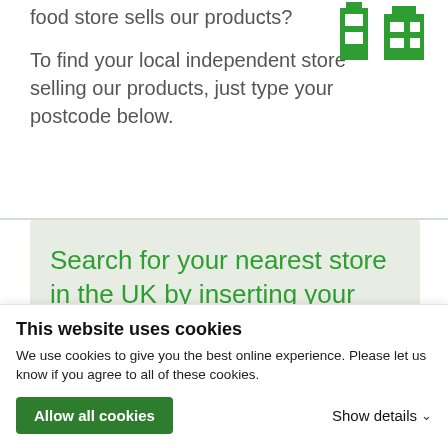food store sells our products?
To find your local independent store selling our products, just type your postcode below.
[Figure (logo): Green store/building icon logo]
Search for your nearest store in the UK by inserting your post code below
This website uses cookies
We use cookies to give you the best online experience. Please let us know if you agree to all of these cookies.
Allow all cookies
Show details